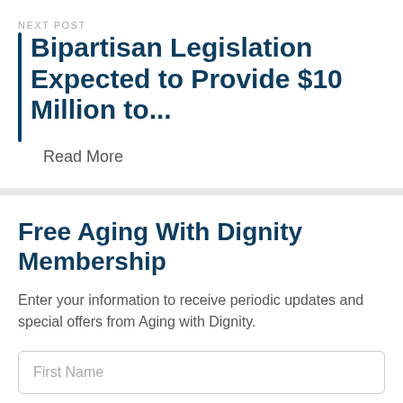NEXT POST
Bipartisan Legislation Expected to Provide $10 Million to...
Read More
Free Aging With Dignity Membership
Enter your information to receive periodic updates and special offers from Aging with Dignity.
First Name